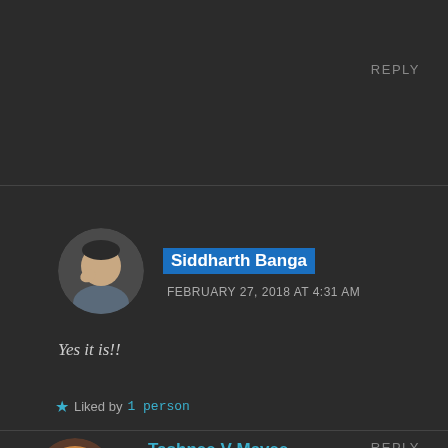REPLY
Siddharth Banga
FEBRUARY 27, 2018 AT 4:31 AM
Yes it is!!
Liked by 1 person
REPLY
Tashnee V Mavee
FEBRUARY 27, 2018 AT 6:51 AM